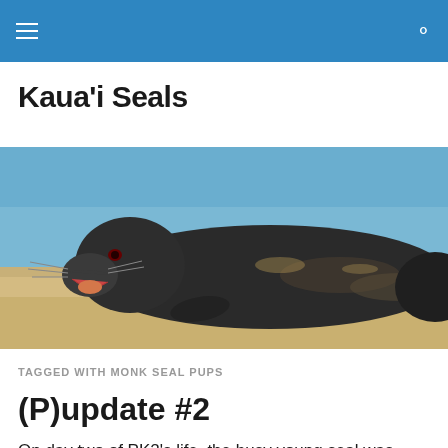Kaua'i Seals — navigation header with hamburger menu and search icon
Kaua'i Seals
[Figure (photo): A dark brown/black Hawaiian monk seal pup lying on sandy beach with blue ocean in background, mouth open showing tongue, whiskers visible, photographed close up from side view]
TAGGED WITH MONK SEAL PUPS
(P)update #2
On day two of PK2’s life, the busy young seal was observed galumphing around its mother and nursing